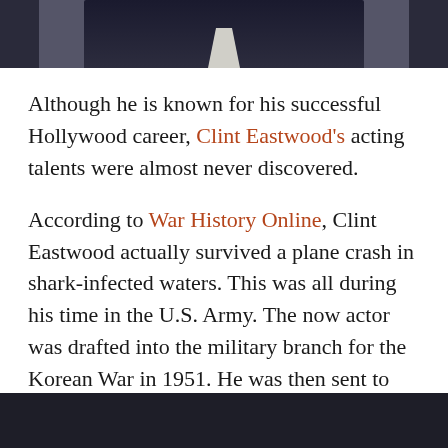[Figure (photo): Top portion of a man in a dark suit with white shirt visible, cropped at chest level, dark background]
Although he is known for his successful Hollywood career, Clint Eastwood's acting talents were almost never discovered.
According to War History Online, Clint Eastwood actually survived a plane crash in shark-infected waters. This was all during his time in the U.S. Army. The now actor was drafted into the military branch for the Korean War in 1951. He was then sent to Ford Ord, California to complete basic training and